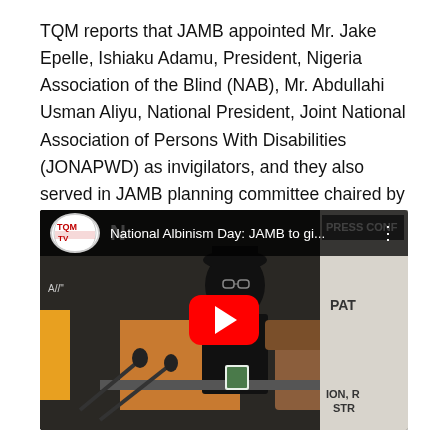TQM reports that JAMB appointed Mr. Jake Epelle, Ishiaku Adamu, President, Nigeria Association of the Blind (NAB), Mr. Abdullahi Usman Aliyu, National President, Joint National Association of Persons With Disabilities (JONAPWD) as invigilators, and they also served in JAMB planning committee chaired by Prof. Bukola.
[Figure (screenshot): YouTube video thumbnail showing a press conference. A person wearing a black hat and dark clothing sits at a desk with microphones. The video title reads 'National Albinism Day: JAMB to gi...' with TQMTV logo. A red YouTube play button is centered on the image. Partial text 'PRESS CONF', 'PAT', 'ION', 'TR' visible on right side banners.]